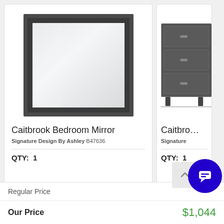[Figure (photo): Square mirror with dark gray wooden frame — Caitbrook Bedroom Mirror product photo]
Caitbrook Bedroom Mirror
Signature Design By Ashley B47636
QTY: 1
[Figure (photo): Partial view of a dark gray wooden dresser/chest — Caitbrook product photo (cropped)]
Caitbro…
Signature
QTY: 1
| Regular Price |  |
| Our Price | $1,044 |